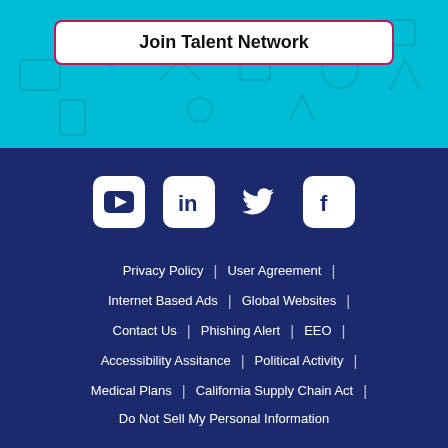Join Talent Network
[Figure (illustration): Social media icons: YouTube, LinkedIn, Twitter, Facebook on dark blue footer background]
Privacy Policy | User Agreement | Internet Based Ads | Global Websites | Contact Us | Phishing Alert | EEO | Accessibility Assitance | Political Activity | Medical Plans | California Supply Chain Act | Do Not Sell My Personal Information